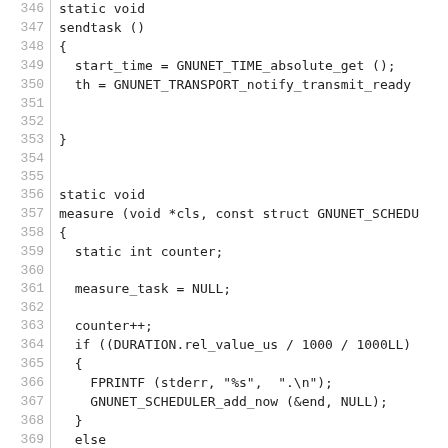[Figure (other): Source code listing showing C functions sendtask() and measure() with line numbers 346-375]